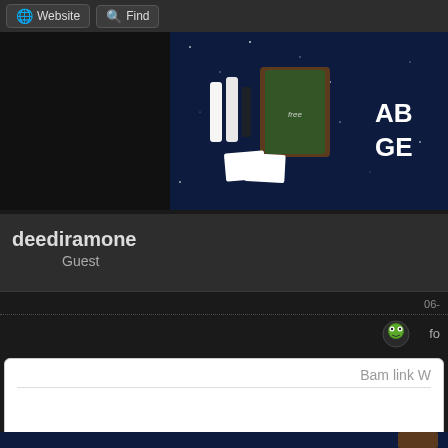Website   Find
[Figure (screenshot): Dark banner with product bottles and box on starry night background with partial text 'AB GE']
deediramone
Guest
06-
[Figure (illustration): Small green frog/monster avatar icon]
fo
Bam link W
[Figure (screenshot): Partial bottom banner with product image on dark background]